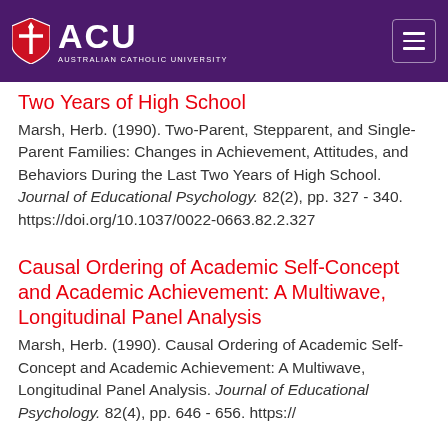[Figure (logo): ACU (Australian Catholic University) logo with purple background header bar and hamburger menu icon]
Two Years of High School
Marsh, Herb. (1990). Two-Parent, Stepparent, and Single-Parent Families: Changes in Achievement, Attitudes, and Behaviors During the Last Two Years of High School. Journal of Educational Psychology. 82(2), pp. 327 - 340. https://doi.org/10.1037/0022-0663.82.2.327
Causal Ordering of Academic Self-Concept and Academic Achievement: A Multiwave, Longitudinal Panel Analysis
Marsh, Herb. (1990). Causal Ordering of Academic Self-Concept and Academic Achievement: A Multiwave, Longitudinal Panel Analysis. Journal of Educational Psychology. 82(4), pp. 646 - 656. https://